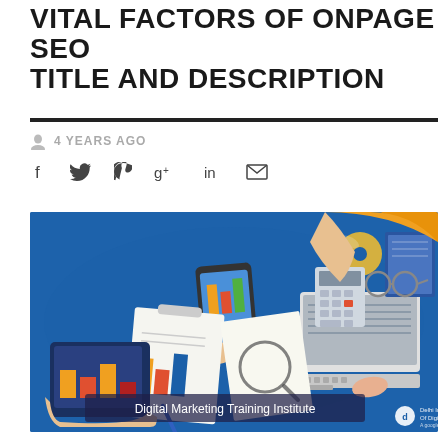VITAL FACTORS OF ONPAGE SEO TITLE AND DESCRIPTION
4 YEARS AGO
[Figure (illustration): Overhead view illustration of people working on digital marketing tasks including laptop, phone, tablet, charts, and desk items on a blue background. Banner reads: Digital Marketing Training Institute]
Digital Marketing Training Institute